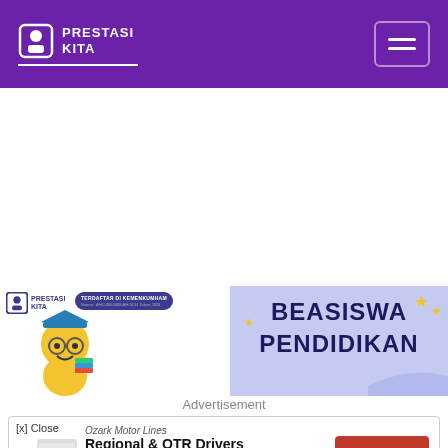[Figure (logo): Prestasi Kita website header with purple background, logo on left, hamburger menu on right]
[Figure (illustration): Prestasi Kita scholarship advertisement banner showing animated character, mortarboard, BEASISWA PENDIDIKAN text, stars, and Terdaftar di Kemenkumham badge]
Advertisement
[Figure (screenshot): Ozark Motor Lines advertisement with Regional & OTR Drivers Needed text and APPLY NOW button]